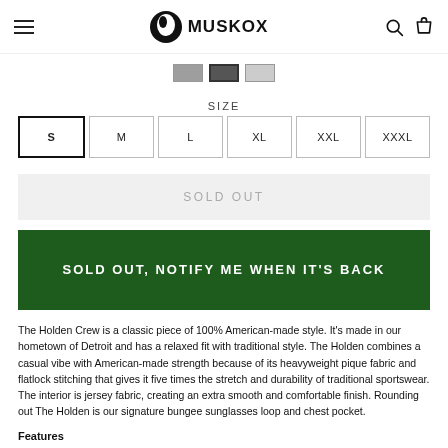MuskOx
SIZE
S  M  L  XL  XXL  XXXL
SOLD OUT
SOLD OUT, NOTIFY ME WHEN IT'S BACK
The Holden Crew is a classic piece of 100% American-made style. It's made in our hometown of Detroit and has a relaxed fit with traditional style. The Holden combines a casual vibe with American-made strength because of its heavyweight pique fabric and flatlock stitching that gives it five times the stretch and durability of traditional sportswear. The interior is jersey fabric, creating an extra smooth and comfortable finish. Rounding out The Holden is our signature bungee sunglasses loop and chest pocket.
Features